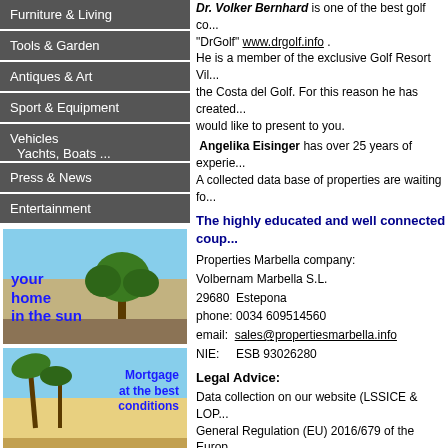Furniture & Living
Tools & Garden
Antiques & Art
Sport & Equipment
Vehicles
Yachts, Boats ...
Press & News
Entertainment
[Figure (photo): Beach scene with tree and blue sky, text overlay: your home in the sun]
[Figure (photo): Palm trees and beach scene, text overlay: Mortgage at the best conditions]
[Figure (photo): Outdoor scene with vegetation]
Dr. Volker Bernhard is one of the best golf coaches, called "DrGolf" www.drgolf.info . He is a member of the exclusive Golf Resort Vill... the Costa del Golf. For this reason he has created... would like to present to you.
Angelika Eisinger has over 25 years of experience... A collected data base of properties are waiting fo...
The highly educated and well connected coup...
Properties Marbella company:
Volbernam Marbella S.L.
29680  Estepona
phone: 0034 609514560
email:  sales@propertiesmarbella.info
NIE:     ESB 93026280
Legal Advice:
Data collection on our website (LSSICE & LOP... General Regulation (EU) 2016/679 of the Europ... personal dates will be processed by Properties M... Volbernam Marbella S.L. with VAT number ESB... service and make the billing of it.
Personal contact details will be kept as long as th... transfered to third parties.